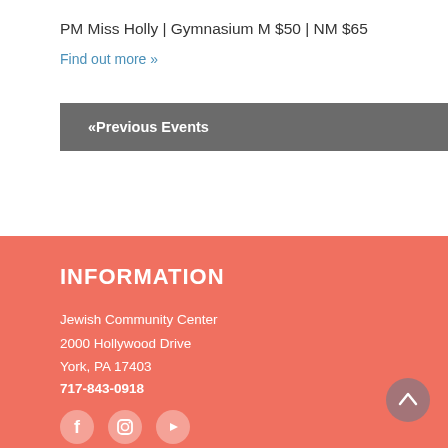PM Miss Holly | Gymnasium M $50 | NM $65
Find out more »
«Previous Events
INFORMATION
Jewish Community Center
2000 Hollywood Drive
York, PA 17403
717-843-0918